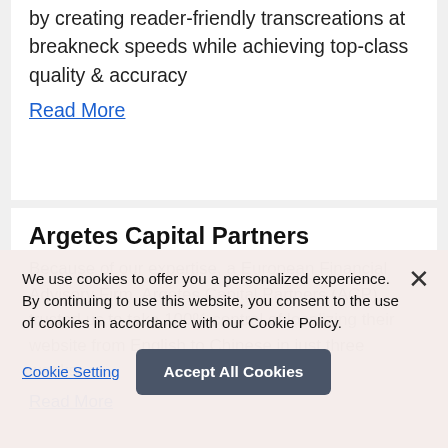by creating reader-friendly transcreations at breakneck speeds while achieving top-class quality & accuracy
Read More
Argetes Capital Partners
Because of our expertise, a European Financial Advisory Firm, Argetes Capital Partners (ACP) trusted us to take 100% control of localizing their website from English to Chinese in just three weeks.
Read More
We use cookies to offer you a personalized experience. By continuing to use this website, you consent to the use of cookies in accordance with our Cookie Policy.
Cookie Setting
Accept All Cookies